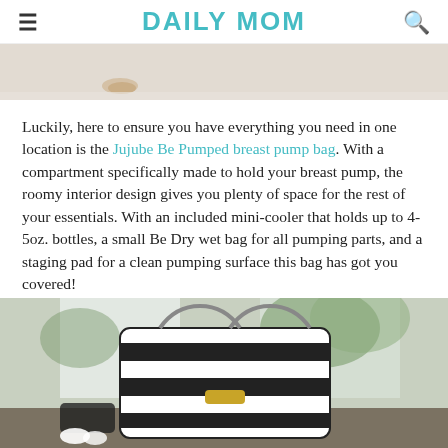DAILY MOM
[Figure (photo): Partial top image showing a light-colored surface with small objects, cropped at the top of the page]
Luckily, here to ensure you have everything you need in one location is the Jujube Be Pumped breast pump bag. With a compartment specifically made to hold your breast pump, the roomy interior design gives you plenty of space for the rest of your essentials. With an included mini-cooler that holds up to 4-5oz. bottles, a small Be Dry wet bag for all pumping parts, and a staging pad for a clean pumping surface this bag has got you covered!
[Figure (photo): Black and white striped Jujube Be Pumped breast pump bag displayed on a table with accessories, bright window background with green foliage]